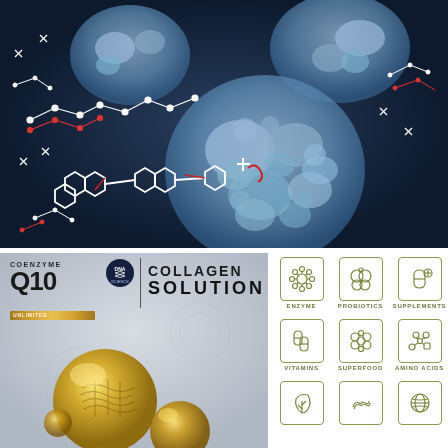[Figure (illustration): 3D scientific illustration of a protein/enzyme molecule structure in blue, with red and white molecular chain structures (coenzyme Q10 molecule) against a dark blue background]
[Figure (illustration): Coenzyme Q10 collagen solution product image with DNA branding badge, gold separator line, 'COLLAGEN SOLUTION' text, gold bar label, and golden sphere droplets on grey gradient background]
[Figure (infographic): 3x3 grid of health supplement category icons with labels: ENZYME, PROBIOTICS, SUPPLEMENTS, VITAMINS, SUPERFOOD, AMINO ACIDS, and two more partially visible rows, each with a square bordered icon in olive/green color]